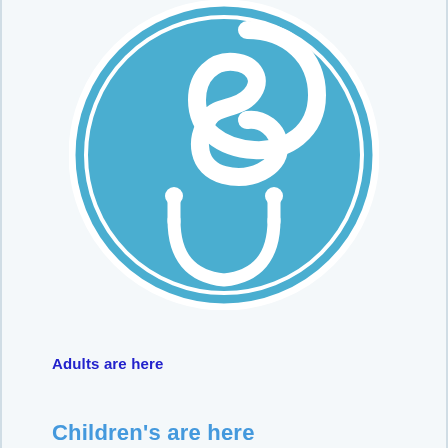[Figure (logo): Blue circular logo with a stylized 'S' shape and a smile/stethoscope symbol inside a double-ring circle, on a light blue-grey background.]
Adults are here
Children's are here